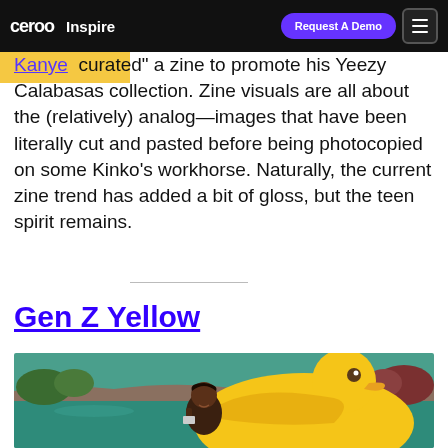ceroo Inspire | Request A Demo
Kanye “curated” a zine to promote his Yeezy Calabasas collection. Zine visuals are all about the (relatively) analog—images that have been literally cut and pasted before being photocopied on some Kinko’s workhorse. Naturally, the current zine trend has added a bit of gloss, but the teen spirit remains.
Gen Z Yellow
[Figure (photo): A young woman relaxing in a pool on a large yellow inflatable rubber duck float, smiling and holding a phone, with pool water and trees in background.]